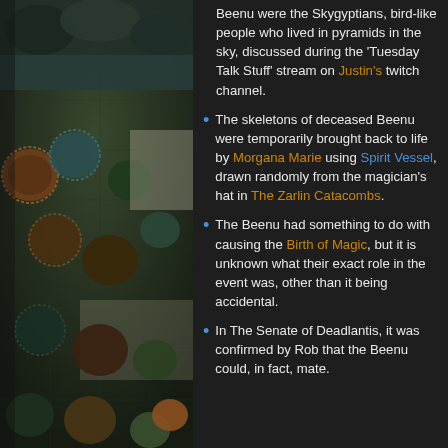[Figure (illustration): Fantasy/game illustration showing various creature-like round fuzzy entities on a map or terrain background, dark tones with browns, teals, and muted greens.]
Beenu were the Skygyptians, bird-like people who lived in pyramids in the sky, discussed during the 'Tuesday Talk Stuff' stream on Justin's twitch channel.
The skeletons of deceased Beenu were temporarily brought back to life by Morgana Marie using Spirit Vessel, drawn randomly from the magician's hat in The Zarlin Catacombs.
The Beenu had something to do with causing the Birth of Magic, but it is unknown what their exact role in the event was, other than it being accidental.
In The Senate of Deadlantis, it was confirmed by Rob that the Beenu could, in fact, mate.